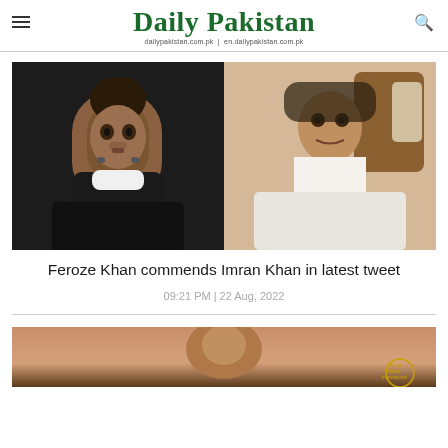Daily Pakistan | dailypakistan.com.pk | en.dailypakistan.com.pk
[Figure (photo): Composite image: on the left, a young man (Feroze Khan) in a black jacket against a dark background; on the right, an older man (Imran Khan) in white shalwar kameez smiling while seated]
Feroze Khan commends Imran Khan in latest tweet
09:21 PM | 22 Aug, 2022
[Figure (photo): Partially visible image at the bottom of the page showing a person with an award badge/medallion (Rhode Island International)]